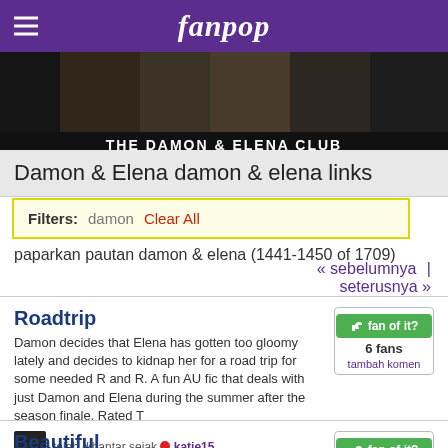fanpop
[Figure (photo): Banner image showing collage of Damon and Elena characters from The Vampire Diaries]
THE DAMON & ELENA CLUB
Damon & Elena damon & elena links
Filters: damon  Clear All
paparkan pautan damon & elena (1441-1450 of 1709)
« sebelumnya | seterusnya »
Roadtrip
Damon decides that Elena has gotten too gloomy lately and decides to kidnap her for a road trip for some needed R and R. A fun AU fic that deals with just Damon and Elena during the summer after the season finale. Rated T
telah dihantar sejak  katie15
hampir setahun yang lalu
Beautiful
Damon goes over to Elena's and admits a few things to her...